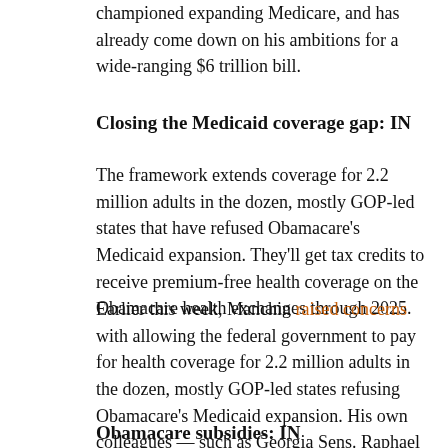championed expanding Medicare, and has already come down on his ambitions for a wide-ranging $6 trillion bill.
Closing the Medicaid coverage gap: IN
The framework extends coverage for 2.2 million adults in the dozen, mostly GOP-led states that have refused Obamacare's Medicaid expansion. They'll get tax credits to receive premium-free health coverage on the Obamacare health exchanges through 2025.
Earlier this week, Manchin raised concerns with allowing the federal government to pay for health coverage for 2.2 million adults in the dozen, mostly GOP-led states refusing Obamacare's Medicaid expansion. His own colleagues — such as Georgia Sens. Raphael Warnock and Jon Ossoff — lobbied heavily to change his mind.
Obamacare subsidies: IN